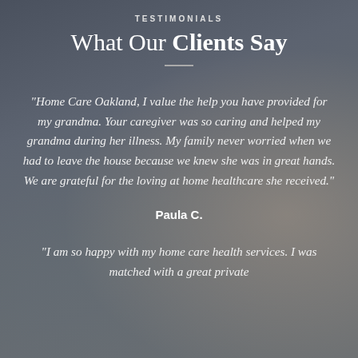TESTIMONIALS
What Our Clients Say
"Home Care Oakland, I value the help you have provided for my grandma. Your caregiver was so caring and helped my grandma during her illness. My family never worried when we had to leave the house because we knew she was in great hands. We are grateful for the loving at home healthcare she received."
Paula C.
"I am so happy with my home care health services. I was matched with a great private